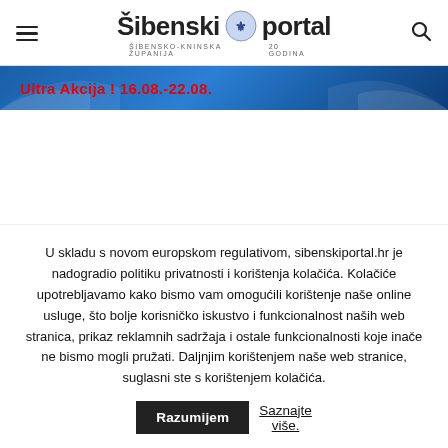Šibenski portal — Šibensko-kninska županija — 20 godina
[Figure (other): Blue promotional banner with text: Ultra Akcija ! 16.08.-22.08.]
U skladu s novom europskom regulativom, sibenskiportal.hr je nadogradio politiku privatnosti i korištenja kolačića. Kolačiće upotrebljavamo kako bismo vam omogućili korištenje naše online usluge, što bolje korisničko iskustvo i funkcionalnost naših web stranica, prikaz reklamnih sadržaja i ostale funkcionalnosti koje inače ne bismo mogli pružati. Daljnjim korištenjem naše web stranice, suglasni ste s korištenjem kolačića.
Razumijem   Saznajte više.